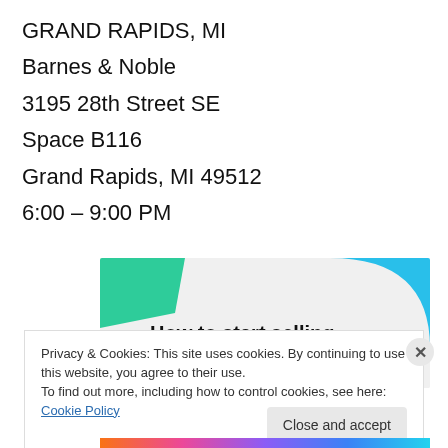GRAND RAPIDS, MI
Barnes & Noble
3195 28th Street SE
Space B116
Grand Rapids, MI 49512
6:00 – 9:00 PM
[Figure (illustration): Ad banner with teal/cyan geometric shapes and bold text 'How to start selling subscriptions online' on light gray background]
Privacy & Cookies: This site uses cookies. By continuing to use this website, you agree to their use. To find out more, including how to control cookies, see here: Cookie Policy
Close and accept